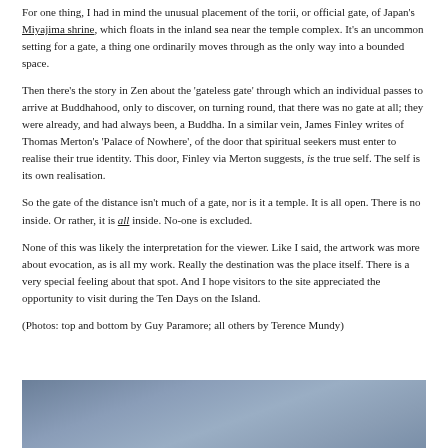For one thing, I had in mind the unusual placement of the torii, or official gate, of Japan's Miyajima shrine, which floats in the inland sea near the temple complex. It's an uncommon setting for a gate, a thing one ordinarily moves through as the only way into a bounded space.
Then there's the story in Zen about the 'gateless gate' through which an individual passes to arrive at Buddhahood, only to discover, on turning round, that there was no gate at all; they were already, and had always been, a Buddha. In a similar vein, James Finley writes of Thomas Merton's 'Palace of Nowhere', of the door that spiritual seekers must enter to realise their true identity. This door, Finley via Merton suggests, is the true self. The self is its own realisation.
So the gate of the distance isn't much of a gate, nor is it a temple. It is all open. There is no inside. Or rather, it is all inside. No-one is excluded.
None of this was likely the interpretation for the viewer. Like I said, the artwork was more about evocation, as is all my work. Really the destination was the place itself. There is a very special feeling about that spot. And I hope visitors to the site appreciated the opportunity to visit during the Ten Days on the Island.
(Photos: top and bottom by Guy Paramore; all others by Terence Mundy)
[Figure (photo): A photograph showing a grey-blue sky, likely an outdoor scene related to the artwork or island location described in the text.]